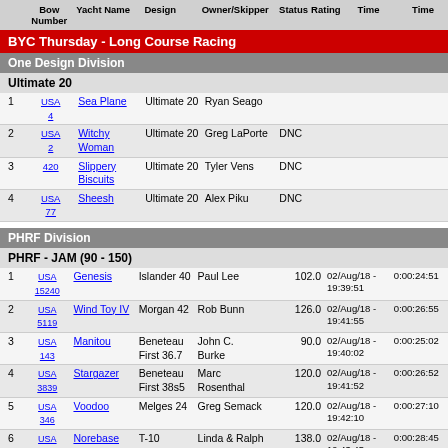Bow Number | Yacht Name | Design | Owner/Skipper | Status | Rating | Time | Time
BYC Thursday - Long Course Racing
One Design Division
Ultimate 20
| Place | Bow Number | Yacht Name | Design | Owner/Skipper | Status | Rating | Time | Corr Time |
| --- | --- | --- | --- | --- | --- | --- | --- | --- |
| 1 | USA 4 | Sea Plane | Ultimate 20 | Ryan Seago |  |  |  |  |
| 2 | USA 2 | Witchy Woman | Ultimate 20 | Greg LaPorte | DNC |  |  |  |
| 3 | 420 | Slippery Biscuits | Ultimate 20 | Tyler Vens | DNC |  |  |  |
| 4 | USA 77 | Sheesh | Ultimate 20 | Alex Piku | DNC |  |  |  |
PHRF Division
PHRF - JAM (90 - 150)
| Place | Bow Number | Yacht Name | Design | Owner/Skipper | Status | Rating | Time | Corr Time |
| --- | --- | --- | --- | --- | --- | --- | --- | --- |
| 1 | USA 15240 | Genesis | Islander 40 | Paul Lee |  | 102.0 | 02/Aug/18 - 19:39:51 | 0:00:24:51 |
| 2 | USA 5119 | Wind Toy IV | Morgan 42 | Rob Bunn |  | 126.0 | 02/Aug/18 - 19:41:55 | 0:00:26:55 |
| 3 | USA 143 | Manitou | Beneteau First 36.7 | John C. Burke |  | 90.0 | 02/Aug/18 - 19:40:02 | 0:00:25:02 |
| 4 | USA 3839 | Stargazer | Beneteau First 38s5 | Marc Rosenthal |  | 120.0 | 02/Aug/18 - 19:41:52 | 0:00:26:52 |
| 5 | USA 346 | Voodoo | Melges 24 | Greg Semack |  | 120.0 | 02/Aug/18 - 19:42:10 | 0:00:27:10 |
| 6 | USA 22391 | Norebase | T-10 | Linda & Ralph Richards |  | 138.0 | 02/Aug/18 - 19:43:45 | 0:00:28:45 |
| 7 | CAN 262 | BDS | Melges 24 | Michael Gualdoni |  | 120.0 | 02/Aug/18 - 19:42:40 | 0:00:27:40 |